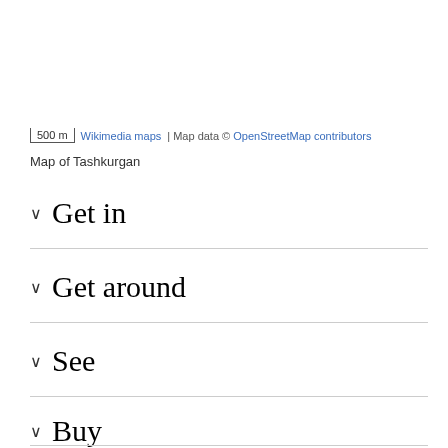500 m  Wikimedia maps  | Map data © OpenStreetMap contributors
Map of Tashkurgan
Get in
Get around
See
Buy